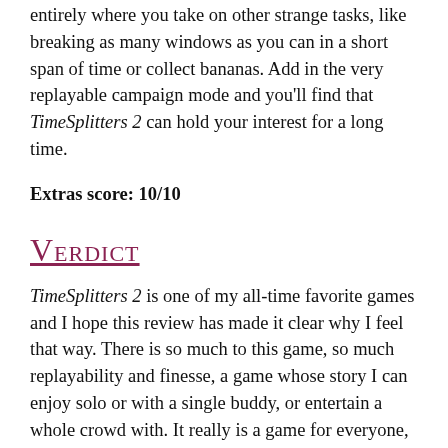entirely where you take on other strange tasks, like breaking as many windows as you can in a short span of time or collect bananas. Add in the very replayable campaign mode and you'll find that TimeSplitters 2 can hold your interest for a long time.
Extras score: 10/10
Verdict
TimeSplitters 2 is one of my all-time favorite games and I hope this review has made it clear why I feel that way. There is so much to this game, so much replayability and finesse, a game whose story I can enjoy solo or with a single buddy, or entertain a whole crowd with. It really is a game for everyone, since the wide roster of characters is always certain to have a few designs that people like and it's an